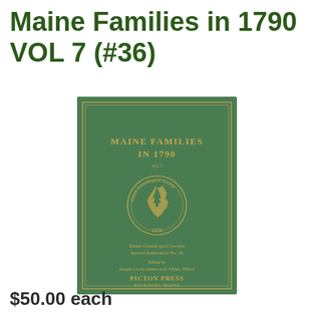Maine Families in 1790 VOL 7 (#36)
[Figure (photo): Book cover of 'Maine Families in 1790 Vol 7', a green hardcover book with gold text and the Maine Genealogical Society seal. Published by Picton Press, Rockport, Maine. Maine Genealogical Society Special Publication No. 36. Edited by Joseph Crook Anderson II, FASG, FMGS.]
$50.00 each